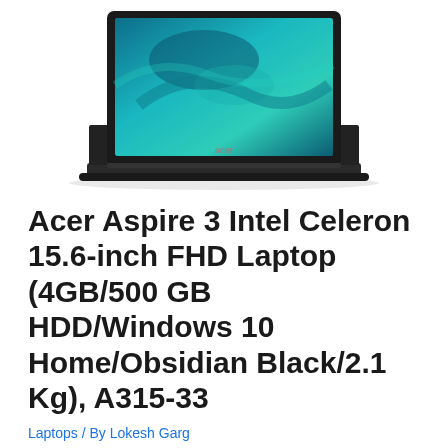[Figure (photo): Acer Aspire 3 laptop product photo showing open laptop with teal/blue screensaver displayed on screen, black chassis, viewed from slightly above and to the side]
Acer Aspire 3 Intel Celeron 15.6-inch FHD Laptop (4GB/500 GB HDD/Windows 10 Home/Obsidian Black/2.1 Kg), A315-33
Laptops / By Lokesh Garg
Price: [price_with_discount](as of [price_update_date] – Details)
[ad_1] Enjoy premium looks without the premium price with the Acer Aspire notebook (model A315-33), which features a beautiful